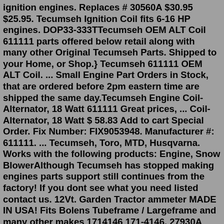ignition engines. Replaces # 30560A $30.95 $25.95. Tecumseh Ignition Coil fits 6-16 HP engines. DOP33-333TTecumseh OEM ALT Coil 611111 parts offered below retail along with many other Original Tecumseh Parts. Shipped to your Home, or Shop.} Tecumseh 611111 OEM ALT Coil. ... Small Engine Part Orders in Stock, that are ordered before 2pm eastern time are shipped the same day.Tecumseh Engine Coil-Alternator, 18 Watt 611111 Great prices, ... Coil-Alternator, 18 Watt $ 58.83 Add to cart Special Order. Fix Number: FIX9053948. Manufacturer #: 611111. ... Tecumseh, Toro, MTD, Husqvarna. Works with the following products: Engine, Snow BlowerAlthough Tecumseh has stopped making engines parts support still continues from the factory! If you dont see what you need listed contact us. 12Vt. Garden Tractor ammeter MADE IN USA! Fits Bolens Tubeframe / Largeframe and many other makes 1714146 171-4146. 27930A Tecumseh Exhaust gasket 35865 27930A FREE SHIPPING!!!!Recoil starter—The recoil starter spins the flywheel to start the